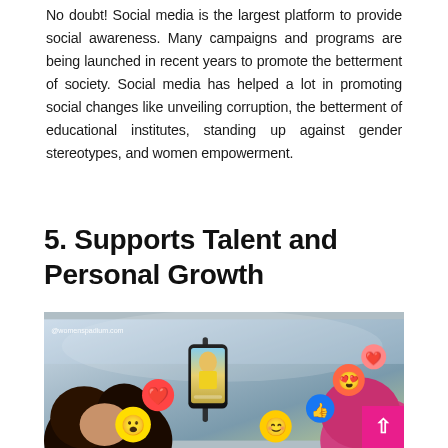No doubt! Social media is the largest platform to provide social awareness. Many campaigns and programs are being launched in recent years to promote the betterment of society. Social media has helped a lot in promoting social changes like unveiling corruption, the betterment of educational institutes, standing up against gender stereotypes, and women empowerment.
5. Supports Talent and Personal Growth
[Figure (photo): A woman with curly hair looking at a smartphone on a gimbal/stabilizer, with social media emoji reaction icons (heart, like, wow, love, smile, star) floating around the phone screen. Watermark: @womenspadium.com]